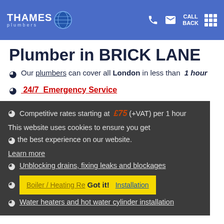THAMES plumbers — header with phone, email, CALL BACK, grid menu
Plumber in BRICK LANE
Our plumbers can cover all London in less than 1 hour
24/7 Emergency Service
Competitive rates starting at £75 (+VAT) per 1 hour
This website uses cookies to ensure you get the best experience on our website.
Learn more
Unblocking drains, fixing leaks and blockages
Boiler / Heating Repair and Installation — Got it!
Water heaters and hot water cylinder installation